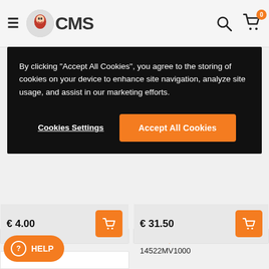CMS
By clicking "Accept All Cookies", you agree to the storing of cookies on your device to enhance site navigation, analyze site usage, and assist in our marketing efforts.
Cookies Settings | Accept All Cookies
PLUG,PIN
45203MG3016
€ 4.00
GUIDE,CAM CHAIN
14522MV1000
€ 31.50